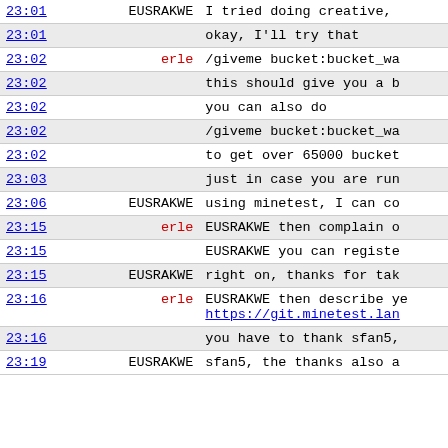| time | user | message |
| --- | --- | --- |
| 23:01 | EUSRAKWE | I tried doing creative, |
| 23:01 |  | okay, I'll try that |
| 23:02 | erle | /giveme bucket:bucket_wa |
| 23:02 |  | this should give you a b |
| 23:02 |  | you can also do |
| 23:02 |  | /giveme bucket:bucket_wa |
| 23:02 |  | to get over 65000 bucket |
| 23:03 |  | just in case you are run |
| 23:06 | EUSRAKWE | using minetest, I can co |
| 23:15 | erle | EUSRAKWE then complain o |
| 23:15 |  | EUSRAKWE you can registe |
| 23:15 | EUSRAKWE | right on, thanks for tak |
| 23:16 | erle | EUSRAKWE then describe ye
https://git.minetest.lan |
| 23:16 |  | you have to thank sfan5, |
| 23:19 | EUSRAKWE | sfan5, the thanks also a |